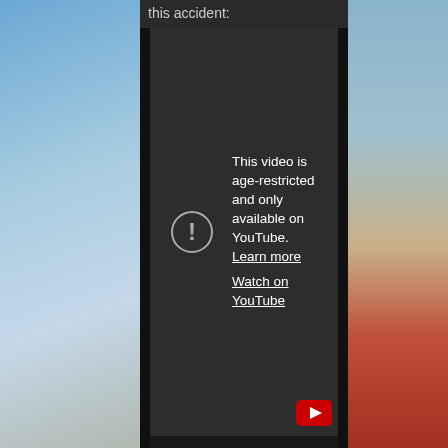this accident:
[Figure (screenshot): Embedded YouTube video player showing age-restriction error message: 'This video is age-restricted and only available on YouTube. Learn more' with 'Watch on YouTube' link below, and a warning circle-exclamation icon. Background is dark gray (#2d2d2d). Flanked by black side bars, with blue sky background on left and a person with blonde hair and red top visible on the right edge.]